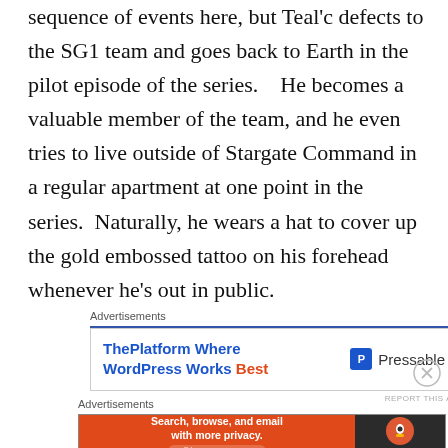sequence of events here, but Teal'c defects to the SG1 team and goes back to Earth in the pilot episode of the series.    He becomes a valuable member of the team, and he even tries to live outside of Stargate Command in a regular apartment at one point in the series.  Naturally, he wears a hat to cover up the gold embossed tattoo on his forehead whenever he's out in public.
[Figure (infographic): Advertisement banner: 'ThePlatform Where WordPress Works Best' with Pressable logo on the right]
[Figure (infographic): Advertisement banner: DuckDuckGo app - 'Search, browse, and email with more privacy. All in One Free App' with DuckDuckGo logo on dark right side]